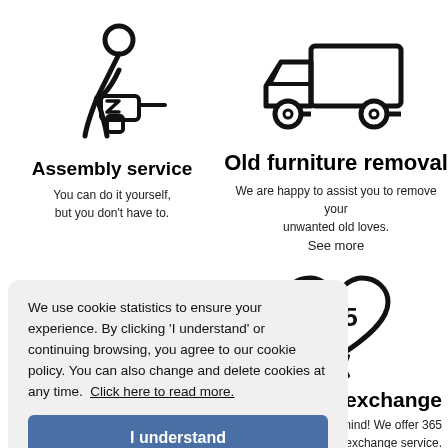[Figure (illustration): Person using power drill icon]
Assembly service
You can do it yourself,
but you don't have to.
[Figure (illustration): Delivery truck icon]
Old furniture removal
We are happy to assist you to remove your unwanted old loves.
See more
We use cookie statistics to ensure your experience. By clicking 'I understand' or continuing browsing, you agree to our cookie policy. You can also change and delete cookies at any time.  Click here to read more.
I understand
[Figure (illustration): Heart with 365 inside and arrow icon]
rn and exchange
hange your mind! We offer 365
return and exchange service.
See more